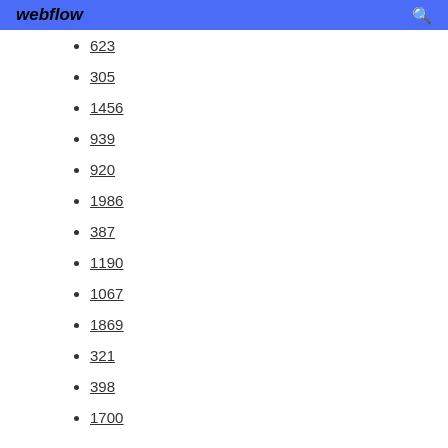webflow
623
305
1456
939
920
1986
387
1190
1067
1869
321
398
1700